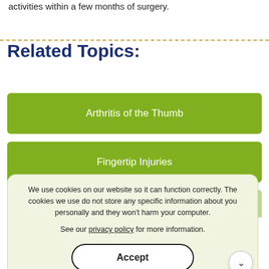activities within a few months of surgery.
Related Topics:
Arthritis of the Thumb
Fingertip Injuries
We use cookies on our website so it can function correctly. The cookies we use do not store any specific information about you personally and they won't harm your computer.

See our privacy policy for more information.
Accept